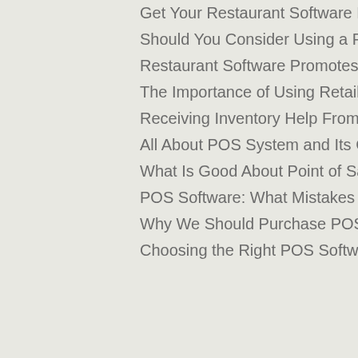Get Your Restaurant Software Now
Should You Consider Using a Point of Sale System
Restaurant Software Promotes Better Restaurant Management
The Importance of Using Retail Software in Your Store
Receiving Inventory Help From a Retail Software
All About POS System and Its Concrete Advantages
What Is Good About Point of Sale System?
POS Software: What Mistakes Can You Avoid With Them
Why We Should Purchase POS Software?
Choosing the Right POS Software in the Market